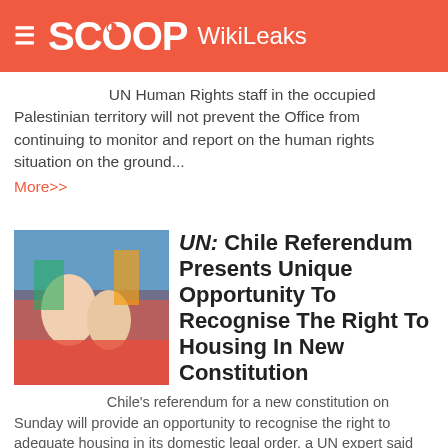SCOOP WikiLeaks
UN Human Rights staff in the occupied Palestinian territory will not prevent the Office from continuing to monitor and report on the human rights situation on the ground... More>>
UN: Chile Referendum Presents Unique Opportunity To Recognise The Right To Housing In New Constitution
Chile's referendum for a new constitution on Sunday will provide an opportunity to recognise the right to adequate housing in its domestic legal order, a UN expert said today... More>>
Mikhail Gorbachev: UN Chief Hails 'One Of A Kind Statesman